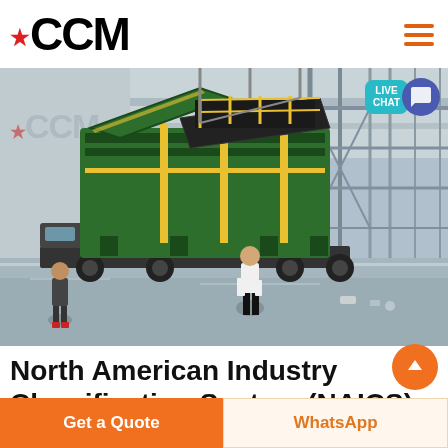CCM
[Figure (photo): Industrial warehouse interior showing a large green mobile crushing machine (portable crusher/screener) being lifted or positioned by crane. A worker in white stands in the foreground, another person in dark clothing stands to the left. The CCM logo is visible on the warehouse wall. The floor appears wet and reflective.]
North American Industry Classification System (NAICS) Code
Get a Quote
WhatsApp